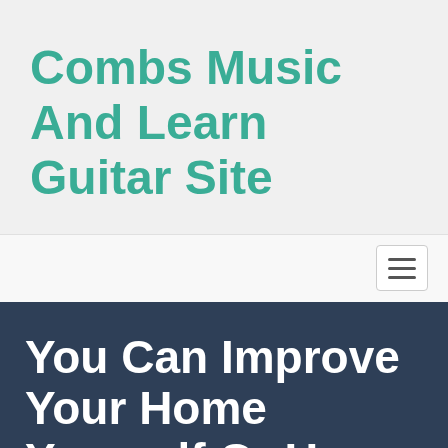Combs Music And Learn Guitar Site
[Figure (screenshot): Navigation bar with hamburger menu button on the right]
You Can Improve Your Home Yourself Or Use The Services Of Home Improvement